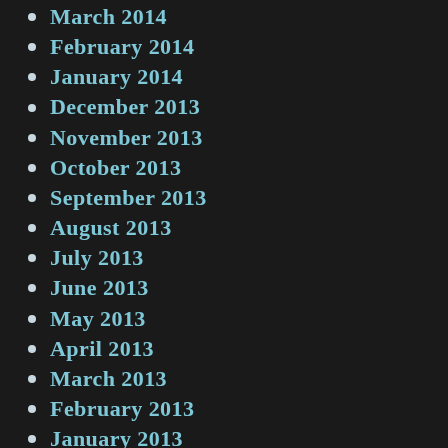March 2014
February 2014
January 2014
December 2013
November 2013
October 2013
September 2013
August 2013
July 2013
June 2013
May 2013
April 2013
March 2013
February 2013
January 2013
December 2012